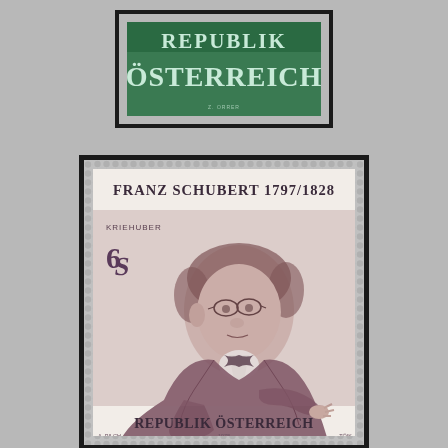[Figure (illustration): Austrian postage stamp (top): green stamp with text 'REPUBLIK ÖSTERREICH' on dark background with perforated edges]
[Figure (illustration): Austrian postage stamp (bottom, large): beige/rose stamp featuring portrait of Franz Schubert, with text 'FRANZ SCHUBERT 1797/1828', denomination '6S', artist credit 'KRIEHUBER', 'REPUBLIK ÖSTERREICH', 'A. PILCH 1978 TOLK']